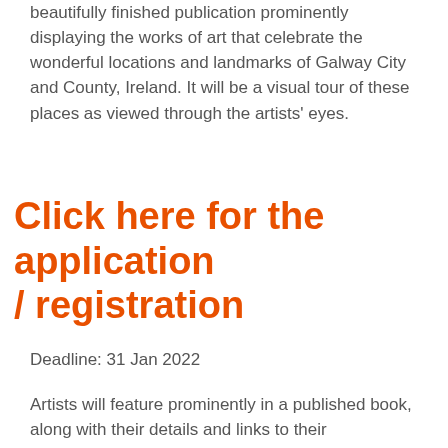beautifully finished publication prominently displaying the works of art that celebrate the wonderful locations and landmarks of Galway City and County, Ireland. It will be a visual tour of these places as viewed through the artists' eyes.
Click here for the application / registration
Deadline: 31 Jan 2022
Artists will feature prominently in a published book, along with their details and links to their website/social media accounts. These will be promoted nationally, online, and to a private list of art collectors and patrons.